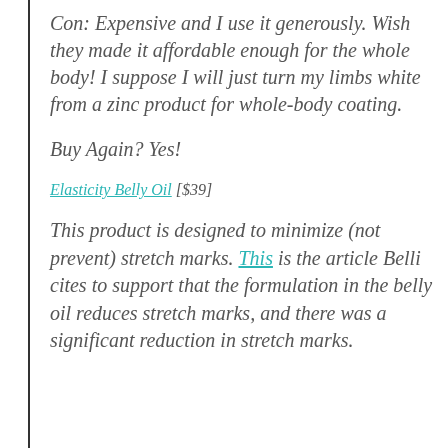Con: Expensive and I use it generously. Wish they made it affordable enough for the whole body! I suppose I will just turn my limbs white from a zinc product for whole-body coating.
Buy Again? Yes!
Elasticity Belly Oil [$39]
This product is designed to minimize (not prevent) stretch marks. This is the article Belli cites to support that the formulation in the belly oil reduces stretch marks, and there was a significant reduction in stretch marks.